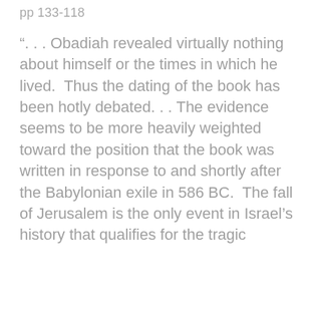pp 133-118
“. . . Obadiah revealed virtually nothing about himself or the times in which he lived.  Thus the dating of the book has been hotly debated. . . The evidence seems to be more heavily weighted toward the position that the book was written in response to and shortly after the Babylonian exile in 586 BC.  The fall of Jerusalem is the only event in Israel’s history that qualifies for the tragic